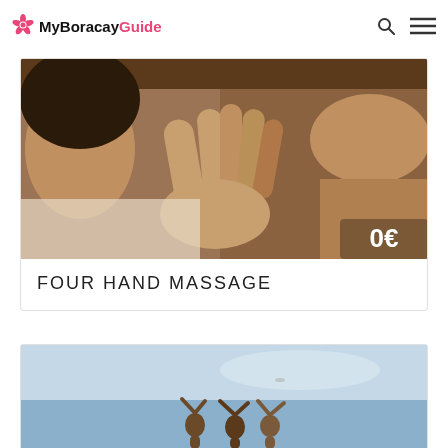MyBoracayGuide
[Figure (photo): Close-up of a four-hand massage being performed on a person's back. Price overlay: 0€]
FOUR HAND MASSAGE
[Figure (photo): Group of people on a beach with arms raised, blue sky background]